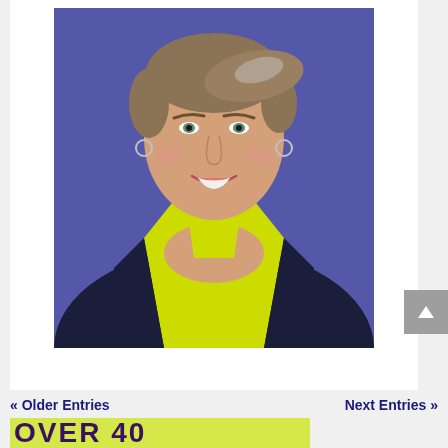[Figure (photo): Portrait photo of a middle-aged woman with short brown hair, smiling, wearing a yellow/neon sports bra top against a purple/blue background]
« Older Entries
Next Entries »
[Figure (photo): Partial view of a lime green banner with large bold purple text, partially cut off at bottom of page]